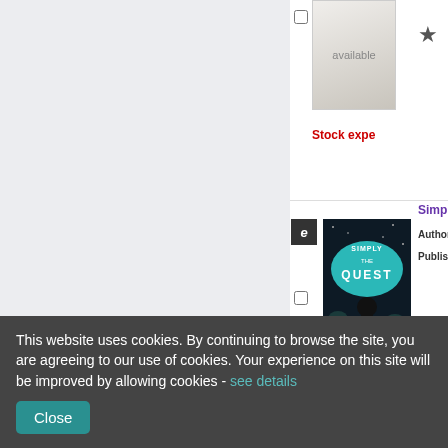[Figure (screenshot): Book catalog listing showing book covers and availability status. Top row shows a partially visible book with 'available' text and a star icon, with 'Stock expe...' in red text. Middle row shows 'Simply The Quest' book with ebook icon, cover image, author (Ev...), published date, and 'Available' in green. Bottom row shows 'Beyond T...' book with ebook icon and author (Ev...).]
This website uses cookies. By continuing to browse the site, you are agreeing to our use of cookies. Your experience on this site will be improved by allowing cookies - see details
Close